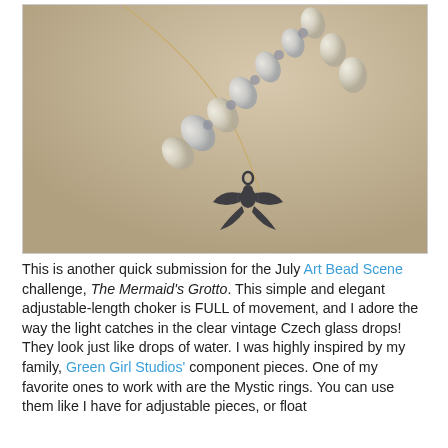[Figure (photo): Close-up photo of a jewelry piece: an adjustable-length choker with clear vintage Czech glass drop beads and a dark metal bird/swallow charm pendant, on a tan/beige background.]
This is another quick submission for the July Art Bead Scene challenge, The Mermaid's Grotto. This simple and elegant adjustable-length choker is FULL of movement, and I adore the way the light catches in the clear vintage Czech glass drops! They look just like drops of water. I was highly inspired by my family, Green Girl Studios' component pieces. One of my favorite ones to work with are the Mystic rings. You can use them like I have for adjustable pieces, or float